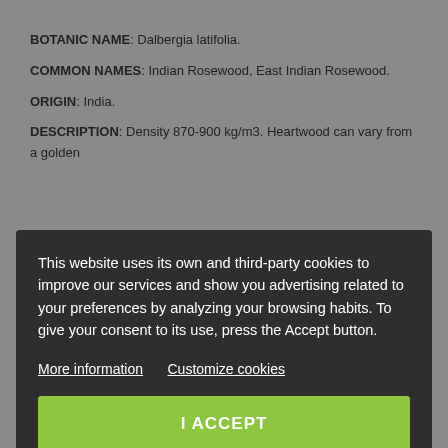BOTANIC NAME: Dalbergia latifolia.
COMMON NAMES: Indian Rosewood, East Indian Rosewood.
ORIGIN: India.
DESCRIPTION: Density 870-900 kg/m3. Heartwood can vary from a golden
[Figure (screenshot): Cookie consent overlay dialog with dark background. Contains text: 'This website uses its own and third-party cookies to improve our services and show you advertising related to your preferences by analyzing your browsing habits. To give your consent to its use, press the Accept button.' with links 'More information' and 'Customize cookies' and a green 'I ACCEPT' button.]
USES: Guitar tops , backs, fingerboards, bridges, headplates and Zanfoña pieces.